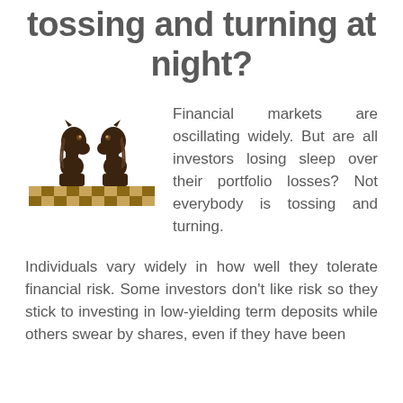tossing and turning at night?
[Figure (photo): Two dark wooden chess knight pieces facing each other on a chessboard]
Financial markets are oscillating widely. But are all investors losing sleep over their portfolio losses? Not everybody is tossing and turning.
Individuals vary widely in how well they tolerate financial risk. Some investors don't like risk so they stick to investing in low-yielding term deposits while others swear by shares, even if they have been